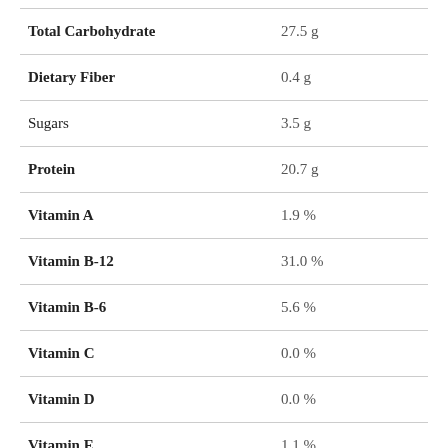| Nutrient | Amount |
| --- | --- |
| Total Carbohydrate | 27.5 g |
| Dietary Fiber | 0.4 g |
| Sugars | 3.5 g |
| Protein | 20.7 g |
| Vitamin A | 1.9 % |
| Vitamin B-12 | 31.0 % |
| Vitamin B-6 | 5.6 % |
| Vitamin C | 0.0 % |
| Vitamin D | 0.0 % |
| Vitamin E | 1.1 % |
| Calcium | 7.6 % |